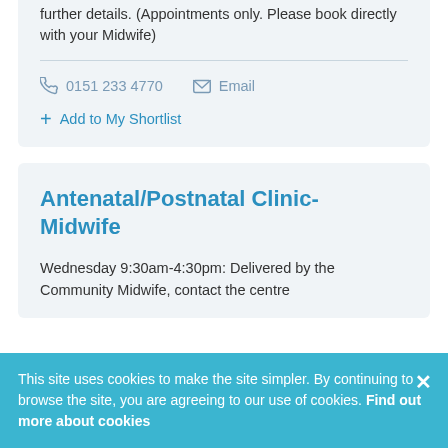further details. (Appointments only. Please book directly with your Midwife)
0151 233 4770   Email
+ Add to My Shortlist
Antenatal/Postnatal Clinic-Midwife
Wednesday 9:30am-4:30pm: Delivered by the Community Midwife, contact the centre
This site uses cookies to make the site simpler. By continuing to browse the site, you are agreeing to our use of cookies. Find out more about cookies